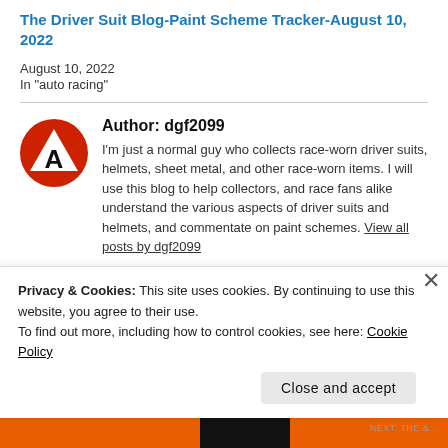The Driver Suit Blog-Paint Scheme Tracker-August 10, 2022
August 10, 2022
In "auto racing"
Author: dgf2099
I'm just a normal guy who collects race-worn driver suits, helmets, sheet metal, and other race-worn items. I will use this blog to help collectors, and race fans alike understand the various aspects of driver suits and helmets, and commentate on paint schemes. View all posts by dgf2099
Privacy & Cookies: This site uses cookies. By continuing to use this website, you agree to their use.
To find out more, including how to control cookies, see here: Cookie Policy